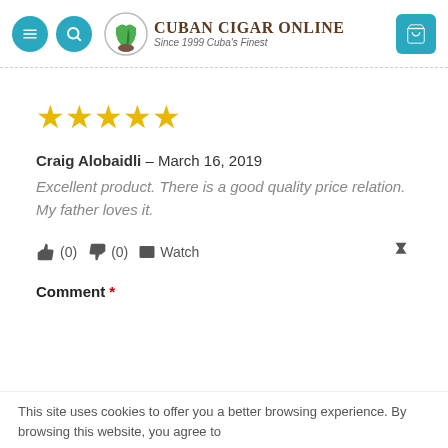Cuban Cigar Online — Since 1999 Cuba's Finest
[Figure (other): 5 gold/yellow star rating icons]
Craig Alobaidli – March 16, 2019
Excellent product. There is a good quality price relation. My father loves it.
👍 (0)  👎 (0)  ✉ Watch  🚩
Comment *
This site uses cookies to offer you a better browsing experience. By browsing this website, you agree to